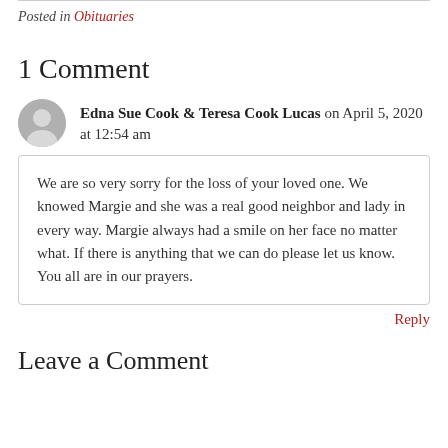Posted in Obituaries
1 Comment
Edna Sue Cook & Teresa Cook Lucas on April 5, 2020 at 12:54 am
We are so very sorry for the loss of your loved one. We knowed Margie and she was a real good neighbor and lady in every way. Margie always had a smile on her face no matter what. If there is anything that we can do please let us know. You all are in our prayers.
Reply
Leave a Comment